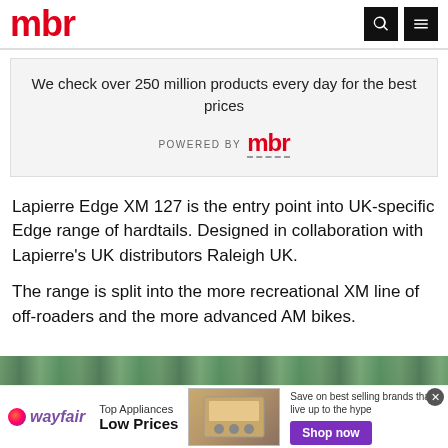mbr
We check over 250 million products every day for the best prices
POWERED BY mbr
Lapierre Edge XM 127 is the entry point into UK-specific Edge range of hardtails. Designed in collaboration with Lapierre’s UK distributors Raleigh UK.
The range is split into the more recreational XM line of off-roaders and the more advanced AM bikes.
[Figure (photo): Partial view of a mountain bike in a forest/woodland setting, showing top portion of the scene]
[Figure (other): Wayfair advertisement banner: Top Appliances Low Prices, with appliance image and Shop now button]